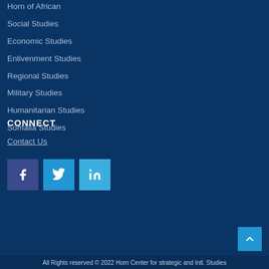Horn of African
Social Studies
Economic Studies
Enlivenment Studies
Regional Studies
Military Studies
Humanitarian Studies
Somalia Studies
CONNECT
Contact Us
[Figure (other): Social media icons: Facebook, Twitter, LinkedIn]
[Figure (other): Scroll to top button with upward chevron arrow]
All Rights reserved © 2022 Horn Center for strategic and Intl. Studies